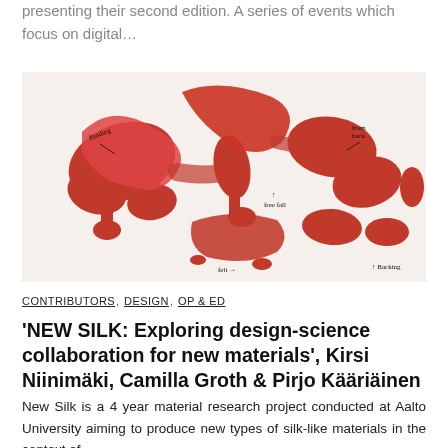presenting their second edition. A series of events which focus on digital…
[Figure (photo): Abstract red/orange paint splashes on white background with handwritten annotations and arrows]
CONTRIBUTORS, DESIGN, OP & ED
'NEW SILK: Exploring design-science collaboration for new materials', Kirsi Niinimäki, Camilla Groth & Pirjo Kääriäinen
New Silk is a 4 year material research project conducted at Aalto University aiming to produce new types of silk-like materials in the context of